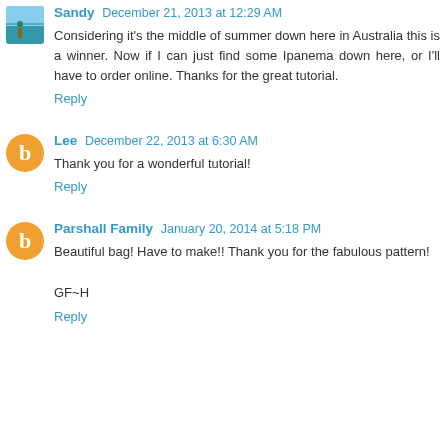Sandy December 21, 2013 at 12:29 AM
Considering it's the middle of summer down here in Australia this is a winner. Now if I can just find some Ipanema down here, or I'll have to order online. Thanks for the great tutorial.
Reply
Lee December 22, 2013 at 6:30 AM
Thank you for a wonderful tutorial!
Reply
Parshall Family January 20, 2014 at 5:18 PM
Beautiful bag! Have to make!! Thank you for the fabulous pattern!
GF~H
Reply